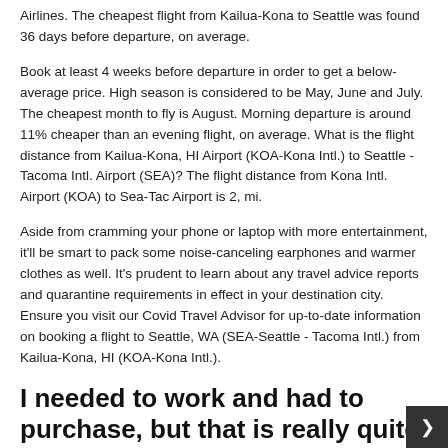Airlines. The cheapest flight from Kailua-Kona to Seattle was found 36 days before departure, on average.
Book at least 4 weeks before departure in order to get a below-average price. High season is considered to be May, June and July. The cheapest month to fly is August. Morning departure is around 11% cheaper than an evening flight, on average. What is the flight distance from Kailua-Kona, HI Airport (KOA-Kona Intl.) to Seattle - Tacoma Intl. Airport (SEA)? The flight distance from Kona Intl. Airport (KOA) to Sea-Tac Airport is 2, mi.
Aside from cramming your phone or laptop with more entertainment, it'll be smart to pack some noise-canceling earphones and warmer clothes as well. It's prudent to learn about any travel advice reports and quarantine requirements in effect in your destination city. Ensure you visit our Covid Travel Advisor for up-to-date information on booking a flight to Seattle, WA (SEA-Seattle - Tacoma Intl.) from Kailua-Kona, HI (KOA-Kona Intl.).
I needed to work and had to purchase, but that is really quite